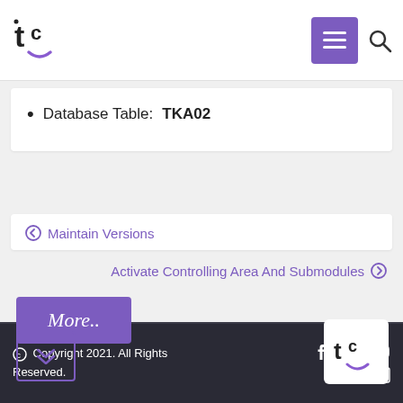tc logo with navigation menu and search
Database Table: TKA02
Maintain Versions
Activate Controlling Area And Submodules
More..
Copyright 2021. All Rights Reserved.